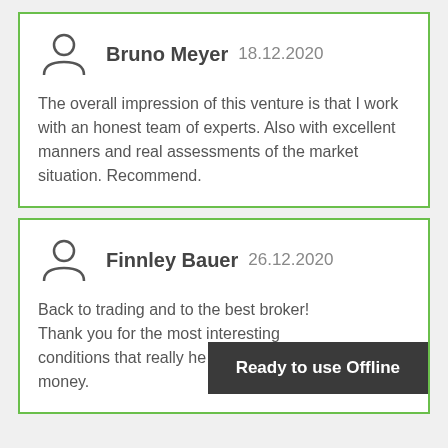Bruno Meyer  18.12.2020

The overall impression of this venture is that I work with an honest team of experts. Also with excellent manners and real assessments of the market situation. Recommend.
Finnley Bauer  26.12.2020

Back to trading and to the best broker! Thank you for the most interesting conditions that really he[lped me to save] money.
Ready to use Offline